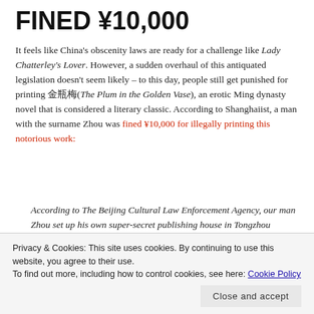FINED ¥10,000
It feels like China's obscenity laws are ready for a challenge like Lady Chatterley's Lover. However, a sudden overhaul of this antiquated legislation doesn't seem likely – to this day, people still get punished for printing 金瓶梅(The Plum in the Golden Vase), an erotic Ming dynasty novel that is considered a literary classic. According to Shanghaiist, a man with the surname Zhou was fined ¥10,000 for illegally printing this notorious work:
According to The Beijing Cultural Law Enforcement Agency, our man Zhou set up his own super-secret publishing house in Tongzhou district, and printed over 2,000 copies of a Qing dynasty version of the book (believed to be a more complete...
Privacy & Cookies: This site uses cookies. By continuing to use this website, you agree to their use.
To find out more, including how to control cookies, see here: Cookie Policy
Zhou has also been fined 10,000 yuan (around $1,333) for his